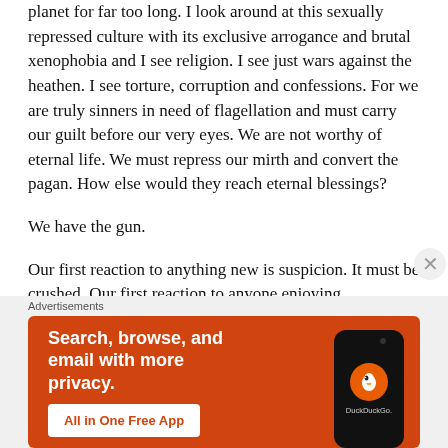planet for far too long. I look around at this sexually repressed culture with its exclusive arrogance and brutal xenophobia and I see religion. I see just wars against the heathen. I see torture, corruption and confessions. For we are truly sinners in need of flagellation and must carry our guilt before our very eyes. We are not worthy of eternal life. We must repress our mirth and convert the pagan. How else would they reach eternal blessings?
We have the gun.
Our first reaction to anything new is suspicion. It must be crushed. Our first reaction to anyone enjoying themselves is that they ought to cool it. Decorum. Ecstasy? Ban it.
[Figure (screenshot): DuckDuckGo advertisement banner: orange background with text 'Search, browse, and email with more privacy.' and 'All in One Free App' button, alongside a phone mockup showing the DuckDuckGo logo.]